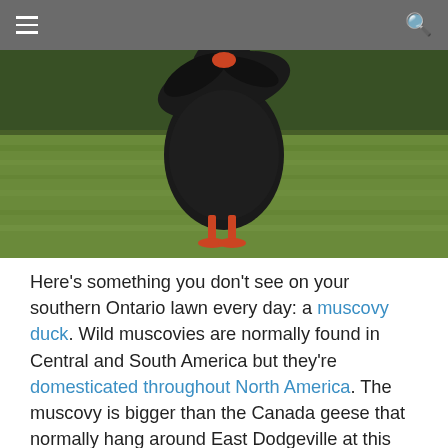[Figure (photo): A large black muscovy duck standing on green grass, viewed from the side/front, with lush lawn in background.]
Here’s something you don’t see on your southern Ontario lawn every day: a muscovy duck. Wild muscovies are normally found in Central and South America but they’re domesticated throughout North America. The muscovy is bigger than the Canada geese that normally hang around East Dodgeville at this time of year. It appeared to be a solitary male with no mate in sight so my money is on it being an escapee from a nearby farm. The muscovy wandered around the lawn for a few minutes, coming up to within 20 feet of the house before waddling back down to the lake and paddling over to a couple of Canada goose families who were swimming nearby. They didn’t much appreciate his efforts to socialize and chased him away.